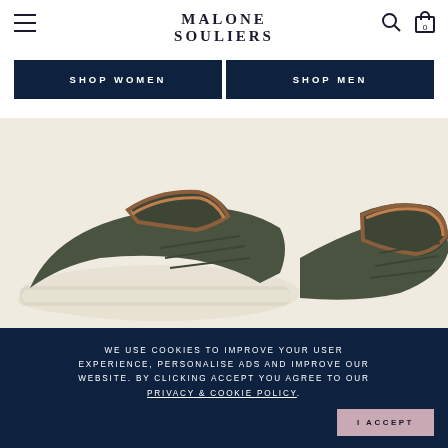MALONE SOULIERS
SHOP WOMEN
SHOP MEN
[Figure (photo): Close-up of two olive green suede sneakers with white rubber soles and brown leather interior lining, photographed against a cream/beige background.]
WE USE COOKIES TO IMPROVE YOUR USER EXPERIENCE, PERSONALISE ADS AND IMPROVE OUR WEBSITE. BY CLICKING ACCEPT YOU AGREE TO OUR PRIVACY & COOKIE POLICY. I ACCEPT